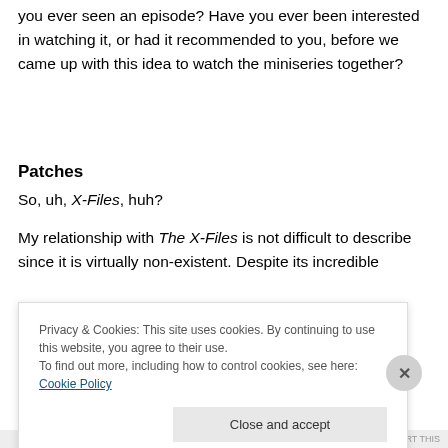you ever seen an episode? Have you ever been interested in watching it, or had it recommended to you, before we came up with this idea to watch the miniseries together?
Patches
So, uh, X-Files, huh?
My relationship with The X-Files is not difficult to describe since it is virtually non-existent. Despite its incredible
Privacy & Cookies: This site uses cookies. By continuing to use this website, you agree to their use.
To find out more, including how to control cookies, see here: Cookie Policy
Close and accept